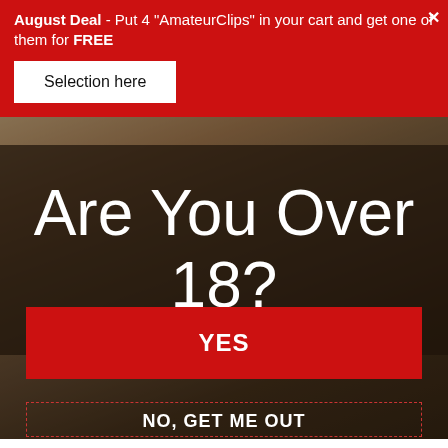August Deal - Put 4 "AmateurClips" in your cart and get one of them for FREE
Selection here
[Figure (photo): Background photo of a room interior, blurred, with a person visible]
Are You Over 18?
YES
NO, GET ME OUT